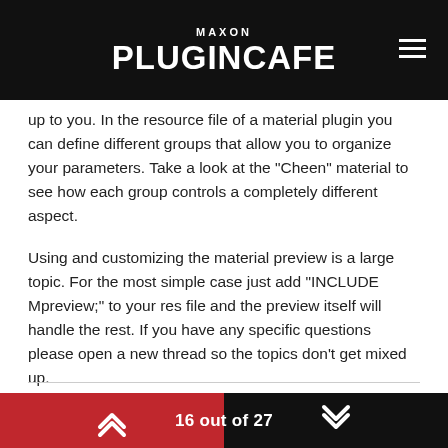MAXON PLUGINCAFE
up to you. In the resource file of a material plugin you can define different groups that allow you to organize your parameters. Take a look at the "Cheen" material to see how each group controls a completely different aspect.
Using and customizing the material preview is a large topic. For the most simple case just add "INCLUDE Mpreview;" to your res file and the preview itself will handle the rest. If you have any specific questions please open a new thread so the topics don't get mixed up.
Best wishes,
Sebastian
16 out of 27